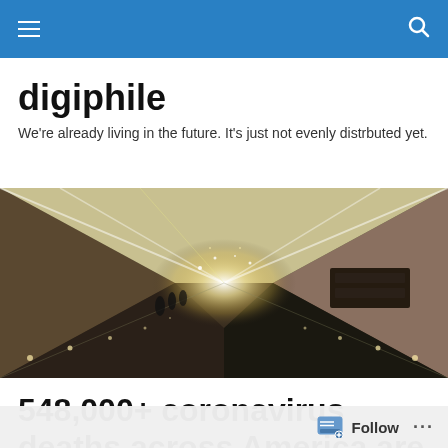digiphile navigation bar
digiphile
We're already living in the future. It's just not evenly distrbuted yet.
[Figure (photo): Futuristic tunnel or metro station corridor with bright lights streaking toward a vanishing point, people on escalators visible in silhouette]
548,000+ coronavirus deaths across America are a failure of presidential leadership, not
Follow